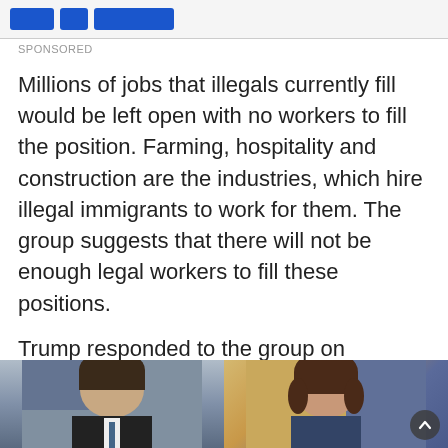[Figure (other): Advertisement banner with blue buttons and sponsored label]
Millions of jobs that illegals currently fill would be left open with no workers to fill the position. Farming, hospitality and construction are the industries, which hire illegal immigrants to work for them. The group suggests that there will not be enough legal workers to fill these positions.
Trump responded to the group on Thursday, stating, “Analysts misunderstood my immigration policy.” Trump has stated that he wants people to come into the country as long as they come through the system.
[Figure (photo): Two side-by-side photos of people, left appears to be a man in front of a US flag, right appears to be a woman in front of a colorful background]